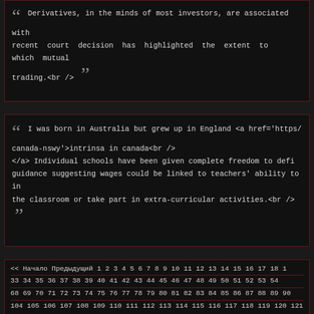“ </a> Derivatives, in the minds of most investors, are associated with recent court decision has highlighted the extent to which mutual trading.<br /> ”
“ I was born in Australia but grew up in England <a href='https/ canada-nswy'>intrinsa in canada<br /> </a> Individual schools have been given complete freedom to defi guidance suggesting wages could be linked to teachers' ability to in the classroom or take part in extra-curricular activities.<br /> ”
<< Начало Предыдущий 1 2 3 4 5 6 7 8 9 10 11 12 13 14 15 16 17 18 ... 33 34 35 36 37 38 39 40 41 42 43 44 45 46 47 48 49 50 51 52 53 54... 68 69 70 71 72 73 74 75 76 77 78 79 80 81 82 83 84 85 86 87 88 89 90 104 105 106 107 108 109 110 111 112 113 114 115 116 117 118 119 120 121 122... 134 135 136 137 138 139 140 141 142 143 144 145 146 147 148 149 150 15... 162 163 164 165 166 167 168 169 170 171 172 173 174 175 176 177 178 179... 191 192 193 194 195 196 197 198 199 200 201 202 203 204 205 206 20... 218 219 220 221 222 223 224 225 226 227 228 229 230 231 232 233... 244 245 246 247 248 249 250 251 252 253 254 255 256 25... 269 270 271 272 273 274 275 276 277 278 279 280 281 282 28... 295 296 297 298 299 300 301 302 303 304 305 306 307 308 309 31...